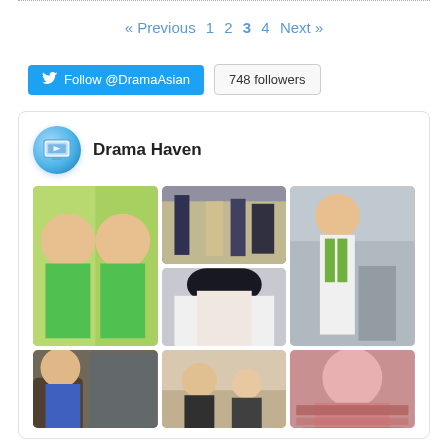« Previous  1  2  3  4  Next »
[Figure (screenshot): Twitter Follow @DramaAsian button and 748 followers count]
[Figure (screenshot): Drama Haven social media card with grid of Korean drama and celebrity photos, profile icon of TV screen]